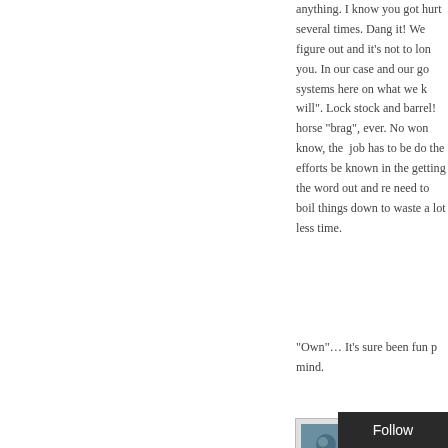anything. I know you got hurt several times. Dang it! We figure out and it's not to long you. In our case and our go systems here on what we k will". Lock stock and barrel! horse "brag", ever. No won know, the job has to be do the efforts be known in the getting the word out and re need to boil things down to waste a lot less time.
"Own"… It's sure been fun mind.
[Figure (photo): Avatar/profile photo of commenter Mike, appears to show a person in water or similar scene with blue-green tones]
Mike says:
May 21, 2018 at 10...
Hi Horseman, Larry, Kathy, the tips Hors...